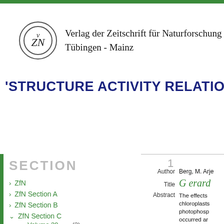Verlag der Zeitschrift für Naturforschung Tübingen - Mainz
'STRUCTURE ACTIVITY RELATIONS
SECTION
ZfN
ZfN Section A
ZfN Section B
ZfN Section C
Volume 39  (2)
1
Author  Berg, M. Arje...
Title  G erard...
Abstract  The effects chloroplasts photophosp occurred ar...